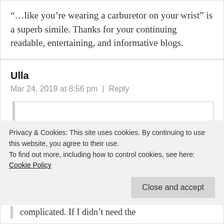“…like you’re wearing a carburetor on your wrist” is a superb simile. Thanks for your continuing readable, entertaining, and informative blogs.
Ulla
Mar 24, 2019 at 8:56 pm  |  Reply
Privacy & Cookies: This site uses cookies. By continuing to use this website, you agree to their use.
To find out more, including how to control cookies, see here: Cookie Policy
Close and accept
complicated. If I didn’t need the